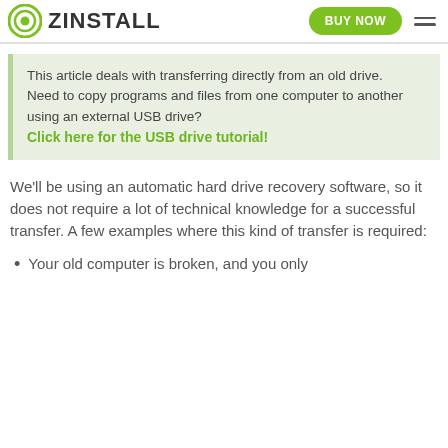ZINSTALL  BUY NOW
This article deals with transferring directly from an old drive.
Need to copy programs and files from one computer to another using an external USB drive?
Click here for the USB drive tutorial!
We'll be using an automatic hard drive recovery software, so it does not require a lot of technical knowledge for a successful transfer. A few examples where this kind of transfer is required:
Your old computer is broken, and you only